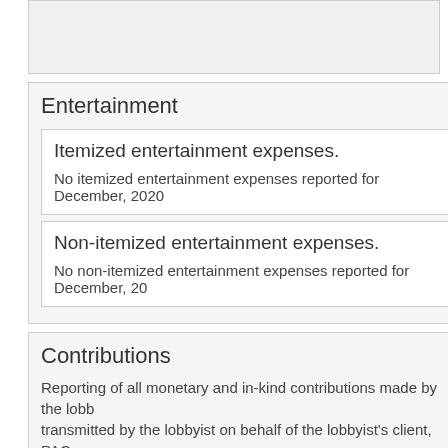Entertainment
Itemized entertainment expenses.
No itemized entertainment expenses reported for December, 2020
Non-itemized entertainment expenses.
No non-itemized entertainment expenses reported for December, 20
Contributions
Reporting of all monetary and in-kind contributions made by the lobbyist transmitted by the lobbyist on behalf of the lobbyist's client, PACs or contributors.
Itemized contributions by employer.